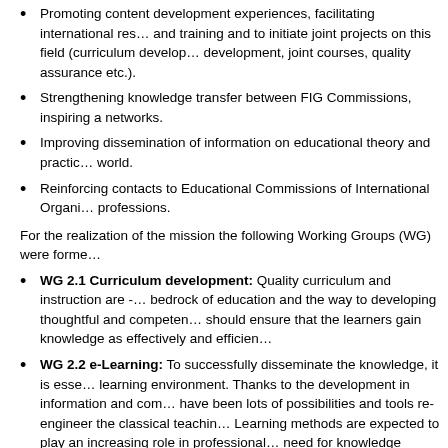Promoting content development experiences, facilitating international research and training and to initiate joint projects on this field (curriculum development, joint courses, quality assurance etc.).
Strengthening knowledge transfer between FIG Commissions, inspiring a networks.
Improving dissemination of information on educational theory and practice world.
Reinforcing contacts to Educational Commissions of International Organizations professions.
For the realization of the mission the following Working Groups (WG) were formed:
WG 2.1 Curriculum development: Quality curriculum and instruction are the bedrock of education and the way to developing thoughtful and competent learners should ensure that the learners gain knowledge as effectively and efficiently
WG 2.2 e-Learning: To successfully disseminate the knowledge, it is essential to create a learning environment. Thanks to the development in information and communication, there have been lots of possibilities and tools re-engineer the classical teaching. e-Learning methods are expected to play an increasing role in professional education given the need for knowledge transfer on this field.
WG 2.3 Educational Management and Marketing: Knowledge dissemination is not purely an or technical problem. Institutes have to own the rights how the learning material